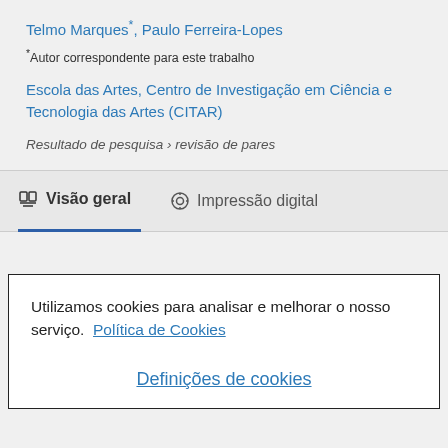Telmo Marques*, Paulo Ferreira-Lopes
*Autor correspondente para este trabalho
Escola das Artes, Centro de Investigação em Ciência e Tecnologia das Artes (CITAR)
Resultado de pesquisa › revisão de pares
Visão geral | Impressão digital
Utilizamos cookies para analisar e melhorar o nosso serviço. Política de Cookies
Definições de cookies